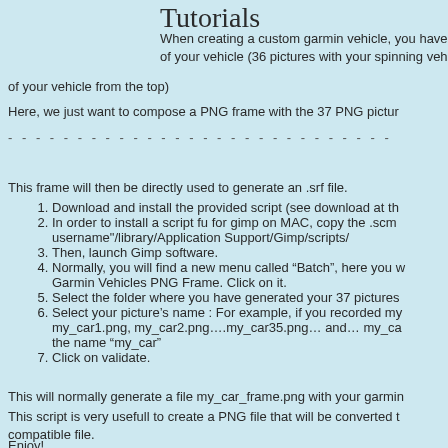Tutorials
When creating a custom garmin vehicle, you have of your vehicle (36 pictures with your spinning veh of your vehicle from the top)
Here, we just want to compose a PNG frame with the 37 PNG pictur
- - - - - - - - - - - - - - - - - - - - - - - - - -
This frame will then be directly used to generate an .srf file.
1. Download and install the provided script (see download at th
2. In order to install a script fu for gimp on MAC, copy the .scm username"/library/Application Support/Gimp/scripts/
3. Then, launch Gimp software.
4. Normally, you will find a new menu called “Batch”, here you w Garmin Vehicles PNG Frame. Click on it.
5. Select the folder where you have generated your 37 pictures
6. Select your picture’s name : For example, if you recorded my my_car1.png, my_car2.png….my_car35.png… and… my_ca the name “my_car”
7. Click on validate.
This will normally generate a file my_car_frame.png with your garmin
This script is very usefull to create a PNG file that will be converted t compatible file.
Enjoy!
Click to continue »